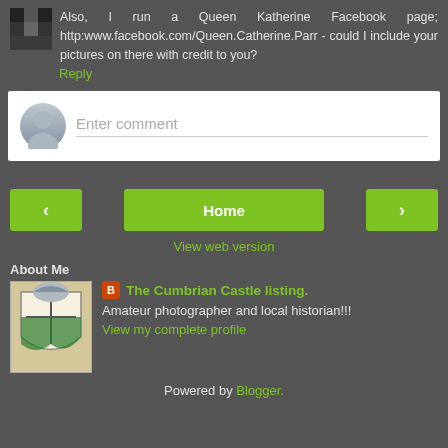Also, I run a Queen Katherine Facebook page; http:www.facebook.com/Queen.Catherine.Parr - could I include your pictures on there with credit to you?
Reply
[Figure (other): Enter comment input box with user avatar placeholder]
[Figure (other): Navigation buttons row: left arrow, Home, right arrow]
View web version
About Me
[Figure (logo): Cumbrian castle coat of arms image]
The Cumbrian Castle listing.
Amateur photographer and local historian!!!
View my complete profile
Powered by Blogger.